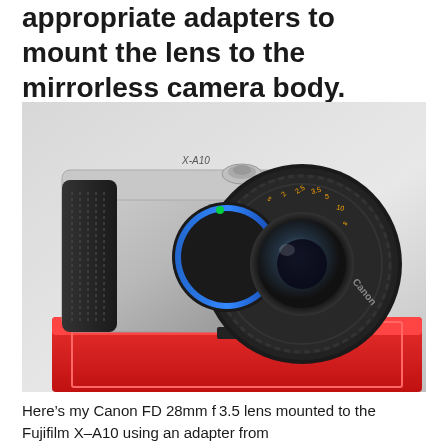appropriate adapters to mount the lens to the mirrorless camera body.
[Figure (photo): A Canon FD 28mm f3.5 lens mounted to a Fujifilm X-A10 silver mirrorless camera body using a blue anodized adapter ring, placed on a red box.]
Here’s my Canon FD 28mm f 3.5 lens mounted to the Fujifilm X–A10 using an adapter from